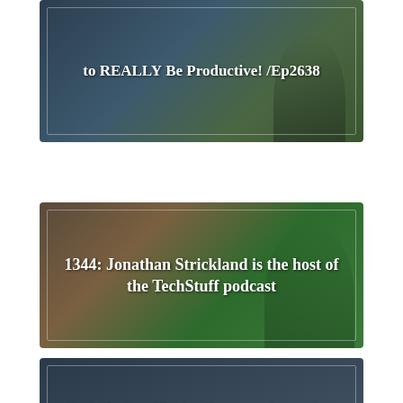[Figure (photo): Podcast thumbnail card 1: Person in dark blue shirt against blurred background, with text overlay reading 'to REALLY Be Productive! /Ep2638']
[Figure (photo): Podcast thumbnail card 2: Jonathan Strickland pointing at camera against green screen background, with text overlay reading '1344: Jonathan Strickland is the host of the TechStuff podcast']
[Figure (photo): Podcast thumbnail card 3: Rodolfo Carrillo against dark blue background, with text overlay reading 'Rodolfo Carrillo, leading transformations towards Conscious Organizations and Conscious leaders /Ep2202']